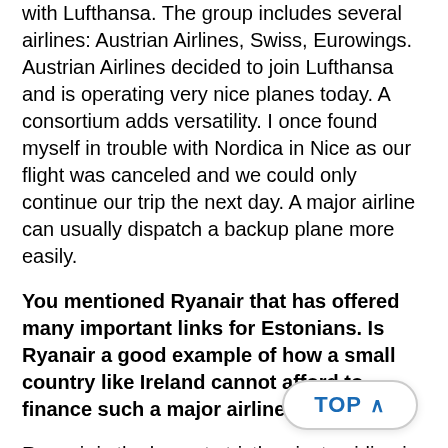with Lufthansa. The group includes several airlines: Austrian Airlines, Swiss, Eurowings. Austrian Airlines decided to join Lufthansa and is operating very nice planes today. A consortium adds versatility. I once found myself in trouble with Nordica in Nice as our flight was canceled and we could only continue our trip the next day. A major airline can usually dispatch a backup plane more easily.
You mentioned Ryanair that has offered many important links for Estonians. Is Ryanair a good example of how a small country like Ireland cannot afford to finance such a major airline?
Ryanair is the largest strictly private airline in Europe. Ryanair wanted to acquire Irish national airline Air Lingus, but the Irish government categorically refused. I have flown with that airline once and will be honest in saying I never will again. Everything was